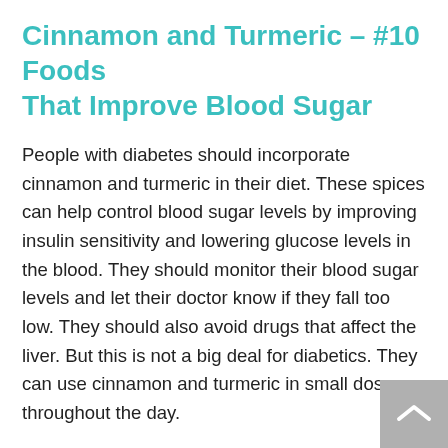Cinnamon and Turmeric – #10 Foods That Improve Blood Sugar
People with diabetes should incorporate cinnamon and turmeric in their diet. These spices can help control blood sugar levels by improving insulin sensitivity and lowering glucose levels in the blood. They should monitor their blood sugar levels and let their doctor know if they fall too low. They should also avoid drugs that affect the liver. But this is not a big deal for diabetics. They can use cinnamon and turmeric in small doses throughout the day.
There is some controversy surrounding cinnamon and turmeric as a way to lower blood sugar levels. Although cinnamon may help manage blood sugar in certain people, there are no proven results. A 2011 review of research shows that cinnamon can lower blood sugar by